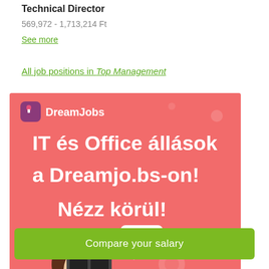Technical Director
569,972 - 1,713,214 Ft
See more
All job positions in Top Management
[Figure (illustration): DreamJobs advertisement banner with coral/salmon background showing a person wearing VR headset and earbuds. Text reads 'IT és Office állások a Dreamjo.bs-on! Nézz körül!' with DreamJobs logo and code bubble icon. Decorative elements include flowers, leaves, and geometric shapes.]
Compare your salary